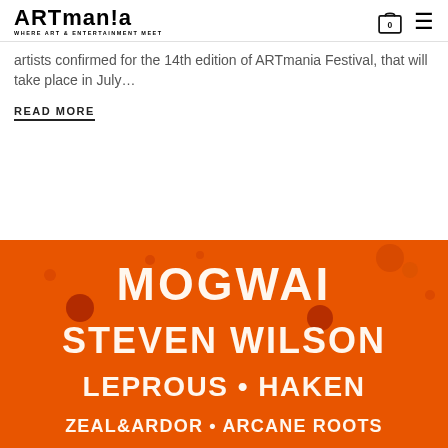ARTmania - WHERE ART & ENTERTAINMENT MEET
artists confirmed for the 14th edition of ARTmania Festival, that will take place in July…
READ MORE
[Figure (photo): Festival poster on orange background showing artist lineup: MOGWAI, STEVEN WILSON, LEPROUS • HAKEN, ZEAL&ARDOR • ARCANE ROOTS]